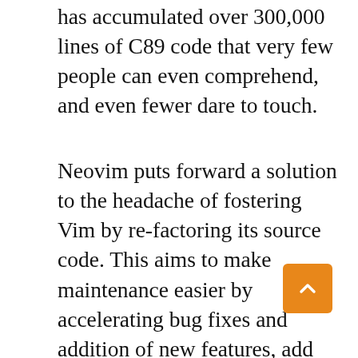has accumulated over 300,000 lines of C89 code that very few people can even comprehend, and even fewer dare to touch.
Neovim puts forward a solution to the headache of fostering Vim by re-factoring its source code. This aims to make maintenance easier by accelerating bug fixes and addition of new features, add modern UI without affecting the source code, splitting the work among multiple devs, and add a new plugin architecture that will improve its extensibility power.
This project is not a mission to rewrite Vim but to change it to suit modern times. The changes will have as little impact as possible